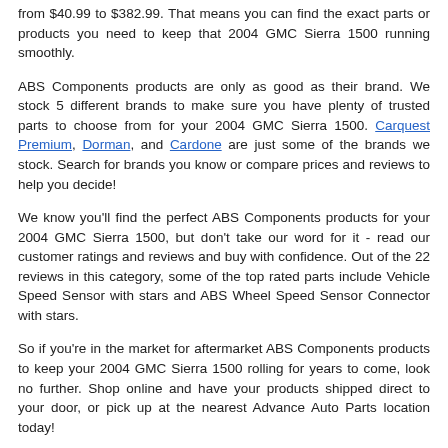from $40.99 to $382.99. That means you can find the exact parts or products you need to keep that 2004 GMC Sierra 1500 running smoothly.
ABS Components products are only as good as their brand. We stock 5 different brands to make sure you have plenty of trusted parts to choose from for your 2004 GMC Sierra 1500. Carquest Premium, Dorman, and Cardone are just some of the brands we stock. Search for brands you know or compare prices and reviews to help you decide!
We know you'll find the perfect ABS Components products for your 2004 GMC Sierra 1500, but don't take our word for it - read our customer ratings and reviews and buy with confidence. Out of the 22 reviews in this category, some of the top rated parts include Vehicle Speed Sensor with stars and ABS Wheel Speed Sensor Connector with stars.
So if you're in the market for aftermarket ABS Components products to keep your 2004 GMC Sierra 1500 rolling for years to come, look no further. Shop online and have your products shipped direct to your door, or pick up at the nearest Advance Auto Parts location today!